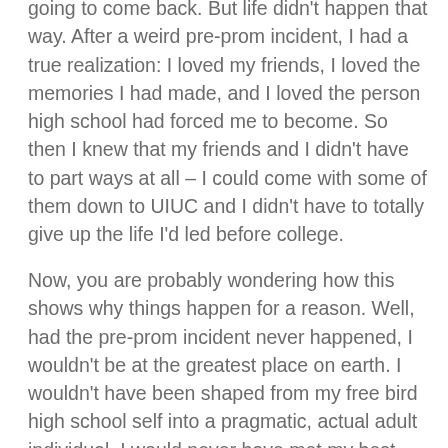going to come back. But life didn't happen that way. After a weird pre-prom incident, I had a true realization: I loved my friends, I loved the memories I had made, and I loved the person high school had forced me to become. So then I knew that my friends and I didn't have to part ways at all – I could come with some of them down to UIUC and I didn't have to totally give up the life I'd led before college.
Now, you are probably wondering how this shows why things happen for a reason. Well, had the pre-prom incident never happened, I wouldn't be at the greatest place on earth. I wouldn't have been shaped from my free bird high school self into a pragmatic, actual adult individual. I would never have met my best friend. I would never